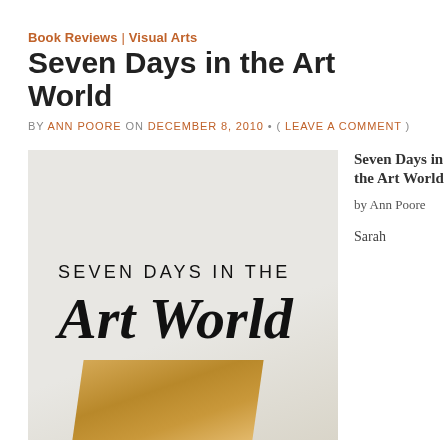Book Reviews | Visual Arts
Seven Days in the Art World
BY ANN POORE ON DECEMBER 8, 2010 • ( LEAVE A COMMENT )
[Figure (photo): Book cover of 'Seven Days in the Art World' showing the title text and a wooden sculptural element at the bottom against a light grey/white background.]
Seven Days in the Art World by Ann Poore

Sarah